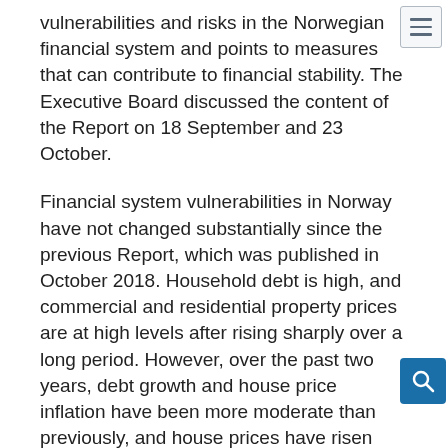vulnerabilities and risks in the Norwegian financial system and points to measures that can contribute to financial stability. The Executive Board discussed the content of the Report on 18 September and 23 October.
Financial system vulnerabilities in Norway have not changed substantially since the previous Report, which was published in October 2018. Household debt is high, and commercial and residential property prices are at high levels after rising sharply over a long period. However, over the past two years, debt growth and house price inflation have been more moderate than previously, and house prices have risen more slowly than disposable income. Over the past year, the rise in commercial property prices has also slowed, and household debt is now rising at close to the same rate as disposable income. Norwegian banks have maintained profitability and solvency and continue to